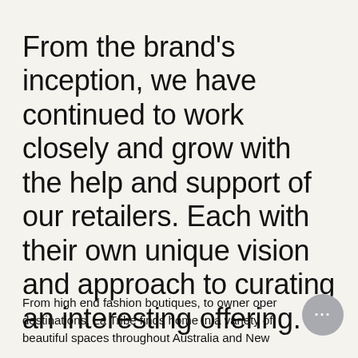From the brand's inception, we have continued to work closely and grow with the help and support of our retailers. Each with their own unique vision and approach to curating an interesting offering.
From high end fashion boutiques, to owner oper destinations, La Tribe finds home in a variety of beautiful spaces throughout Australia and New